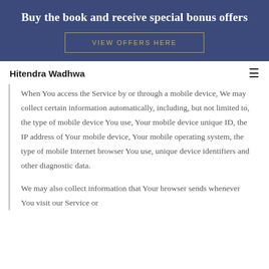Buy the book and receive special bonus offers
VIEW OFFERS HERE
Hitendra Wadhwa
When You access the Service by or through a mobile device, We may collect certain information automatically, including, but not limited to, the type of mobile device You use, Your mobile device unique ID, the IP address of Your mobile device, Your mobile operating system, the type of mobile Internet browser You use, unique device identifiers and other diagnostic data.
We may also collect information that Your browser sends whenever You visit our Service or